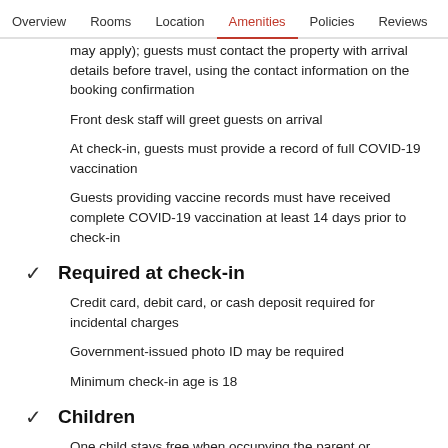Overview  Rooms  Location  Amenities  Policies  Reviews
may apply); guests must contact the property with arrival details before travel, using the contact information on the booking confirmation
Front desk staff will greet guests on arrival
At check-in, guests must provide a record of full COVID-19 vaccination
Guests providing vaccine records must have received complete COVID-19 vaccination at least 14 days prior to check-in
Required at check-in
Credit card, debit card, or cash deposit required for incidental charges
Government-issued photo ID may be required
Minimum check-in age is 18
Children
One child stays free when occupying the parent or guardian's room, using existing bedding